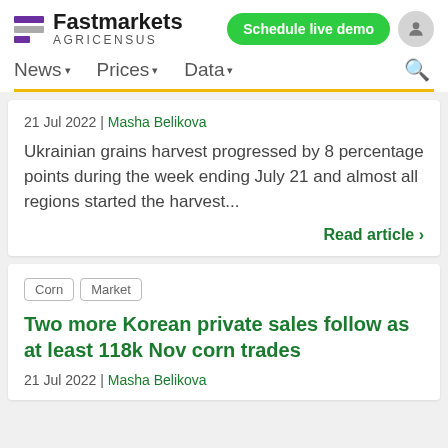Fastmarkets AGRICENSUS
Schedule live demo
News ▾   Prices ▾   Data ▾
21 Jul 2022 | Masha Belikova
Ukrainian grains harvest progressed by 8 percentage points during the week ending July 21 and almost all regions started the harvest...
Read article ›
Corn  Market
Two more Korean private sales follow as at least 118k Nov corn trades
21 Jul 2022 | Masha Belikova